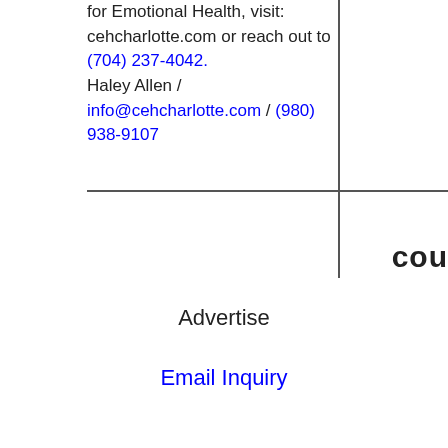for Emotional Health, visit: cehcharlotte.com or reach out to (704) 237-4042. Haley Allen / info@cehcharlotte.com / (980) 938-9107
cou
Advertise
Email Inquiry